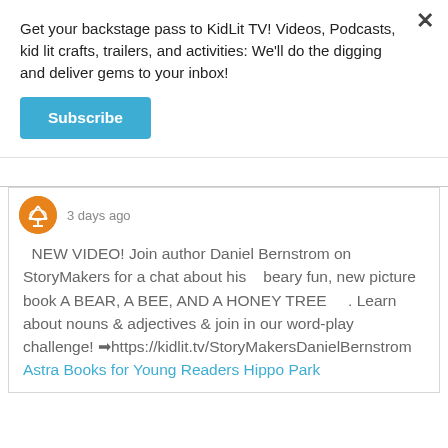Get your backstage pass to KidLit TV! Videos, Podcasts, kid lit crafts, trailers, and activities: We'll do the digging and deliver gems to your inbox!
Subscribe
3 days ago
NEW VIDEO! Join author Daniel Bernstrom on StoryMakers for a chat about his beary fun, new picture book A BEAR, A BEE, AND A HONEY TREE . Learn about nouns & adjectives & join in our word-play challenge! ➡https://kidlit.tv/StoryMakersDanielBernstrom Astra Books for Young Readers Hippo Park